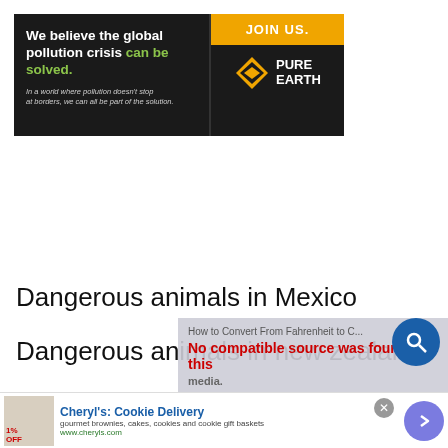[Figure (screenshot): Pure Earth advertisement banner: black background with text 'We believe the global pollution crisis can be solved.' with green highlight, JOIN US button in orange, Pure Earth logo with diamond icon]
Dangerous animals in Mexico
Dangerous animals in new zealand
Dangerous animals in Hawaii
[Figure (screenshot): Video player overlay showing 'How to Convert From Fahrenheit to C...' title and 'No compatible source was found for this media.' error message in red]
[Figure (screenshot): Cheryl's Cookie Delivery advertisement with cookie image, title in blue, description 'gourmet brownies, cakes, cookies and cookie gift baskets', URL www.cheryls.com, close button and arrow button]